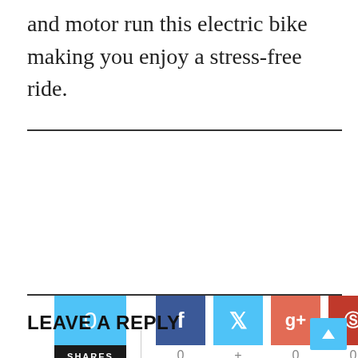and motor run this electric bike making you enjoy a stress-free ride.
[Figure (infographic): Social share widget showing 0 total shares, with buttons for Facebook (0), Twitter (+), Google+ (0), Pinterest (0), and LinkedIn (0)]
LEAVE A REPLY